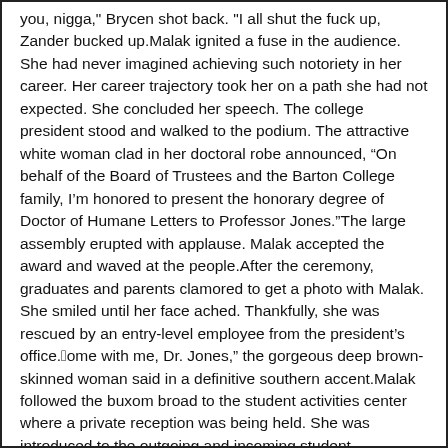you, nigga," Brycen shot back. "I all shut the fuck up, Zander bucked up.Malak ignited a fuse in the audience. She had never imagined achieving such notoriety in her career. Her career trajectory took her on a path she had not expected. She concluded her speech. The college president stood and walked to the podium. The attractive white woman clad in her doctoral robe announced, “On behalf of the Board of Trustees and the Barton College family, I’m honored to present the honorary degree of Doctor of Humane Letters to Professor Jones.”The large assembly erupted with applause. Malak accepted the award and waved at the people.After the ceremony, graduates and parents clamored to get a photo with Malak. She smiled until her face ached. Thankfully, she was rescued by an entry-level employee from the president’s office.“Come with me, Dr. Jones,” the gorgeous deep brown-skinned woman said in a definitive southern accent.Malak followed the buxom broad to the student activities center where a private reception was being held. She was introduced to the outgoing and incoming student government administrations.“I’m from Alabama too,” the 5’11”, 180-pound, mocha complexioned Zander said. “I